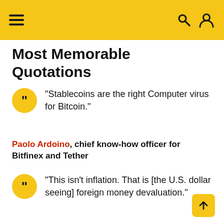Most Memorable Quotations — navigation header with hamburger menu, search and user icons
Most Memorable Quotations
“Stablecoins are the right Computer virus for Bitcoin.”
Paolo Ardoino, chief know-how officer for Bitfinex and Tether
“This isn’t inflation. That is [the U.S. dollar seeing] foreign money devaluation.”